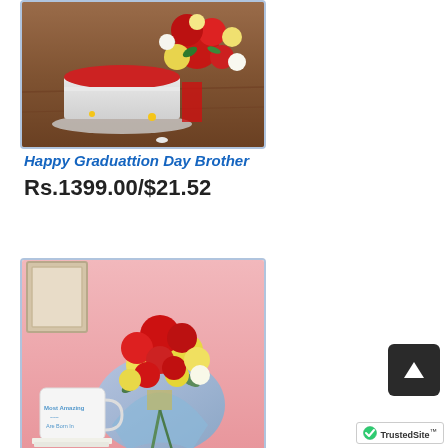[Figure (photo): Product image: red velvet cake with red and yellow flowers on wooden table background]
Happy Graduattion Day Brother
Rs.1399.00/$21.52
[Figure (photo): Product image: bouquet of red and yellow carnations wrapped in blue paper, with a white mug reading 'Most Amazing Are Born In', on pink background]
[Figure (other): TrustedSite badge with green checkmark]